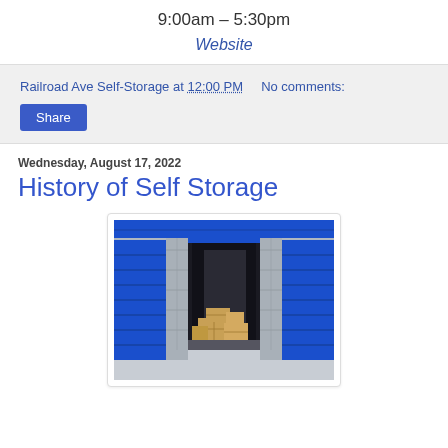9:00am – 5:30pm
Website
Railroad Ave Self-Storage at 12:00 PM    No comments:
Share
Wednesday, August 17, 2022
History of Self Storage
[Figure (photo): Self-storage unit with blue roll-up doors, open center unit showing cardboard boxes stacked inside, concrete block walls, viewed from outside.]